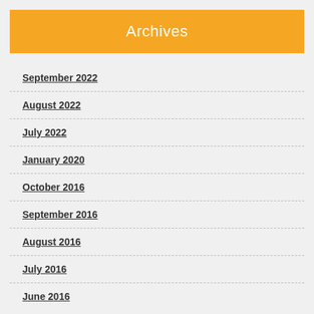Archives
September 2022
August 2022
July 2022
January 2020
October 2016
September 2016
August 2016
July 2016
June 2016